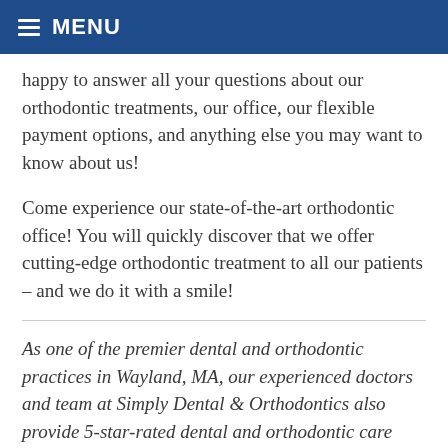MENU
happy to answer all your questions about our orthodontic treatments, our office, our flexible payment options, and anything else you may want to know about us!
Come experience our state-of-the-art orthodontic office! You will quickly discover that we offer cutting-edge orthodontic treatment to all our patients – and we do it with a smile!
As one of the premier dental and orthodontic practices in Wayland, MA, our experienced doctors and team at Simply Dental & Orthodontics also provide 5-star-rated dental and orthodontic care